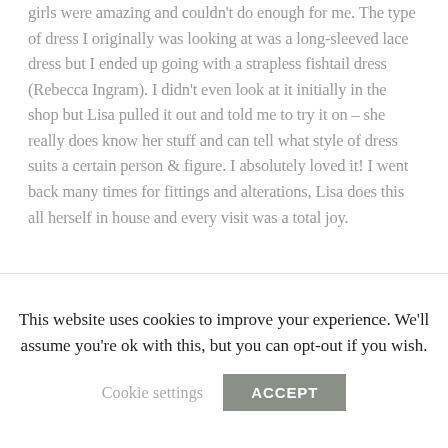girls were amazing and couldn't do enough for me. The type of dress I originally was looking at was a long-sleeved lace dress but I ended up going with a strapless fishtail dress (Rebecca Ingram). I didn't even look at it initially in the shop but Lisa pulled it out and told me to try it on – she really does know her stuff and can tell what style of dress suits a certain person & figure. I absolutely loved it! I went back many times for fittings and alterations, Lisa does this all herself in house and every visit was a total joy.
[Figure (photo): Group of bridesmaids and bride photographed outdoors among trees, viewed from behind/side showing their hair and upper bodies]
This website uses cookies to improve your experience. We'll assume you're ok with this, but you can opt-out if you wish.
Cookie settings   ACCEPT